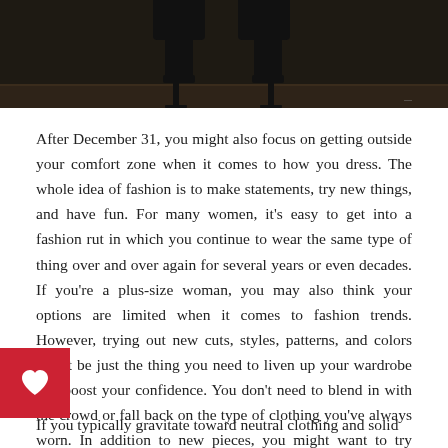[Figure (photo): Bottom portion of a person's legs wearing black open-toe high heel shoes/mules, standing on a dark wooden floor background.]
After December 31, you might also focus on getting outside your comfort zone when it comes to how you dress. The whole idea of fashion is to make statements, try new things, and have fun. For many women, it's easy to get into a fashion rut in which you continue to wear the same type of thing over and over again for several years or even decades. If you're a plus-size woman, you may also think your options are limited when it comes to fashion trends. However, trying out new cuts, styles, patterns, and colors might be just the thing you need to liven up your wardrobe and boost your confidence. You don't need to blend in with the crowd or fall back on the type of clothing you've always worn. In addition to new pieces, you might want to try mixing and matching patterns or experimenting with e of the clothes you already own.
[Figure (illustration): Red square button with a white heart icon in the center (like/favorite button).]
If you typically gravitate toward neutral clothing and solid